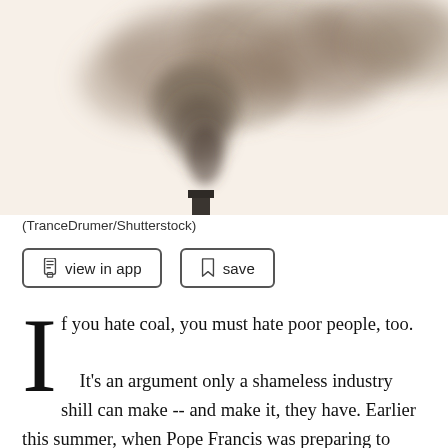[Figure (photo): Smoke billowing from a smokestack or chimney against a light background, sepia/brownish tones.]
(TranceDrumer/Shutterstock)
view in app   save
If you hate coal, you must hate poor people, too.

It's an argument only a shameless industry shill can make -- and make it, they have. Earlier this summer, when Pope Francis was preparing to unveil his encyclical on the environment, a coal lobbyist was at the ready with talking points for how climate action will harm the world's poor, whose salvation from "the